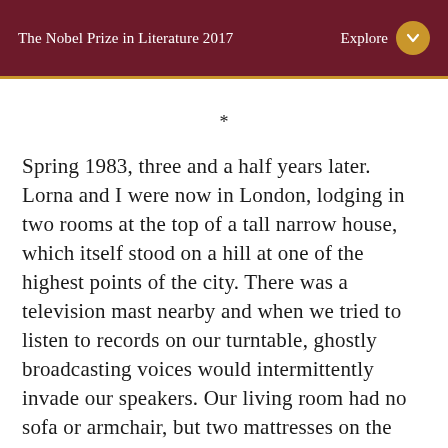The Nobel Prize in Literature 2017 | Explore
*
Spring 1983, three and a half years later. Lorna and I were now in London, lodging in two rooms at the top of a tall narrow house, which itself stood on a hill at one of the highest points of the city. There was a television mast nearby and when we tried to listen to records on our turntable, ghostly broadcasting voices would intermittently invade our speakers. Our living room had no sofa or armchair, but two mattresses on the floor covered with cushions. There was also a large table on which I wrote during the day, and where we had dinner at night. It wasn't luxurious, but we liked living there. I'd published my first novel the year before, and I'd